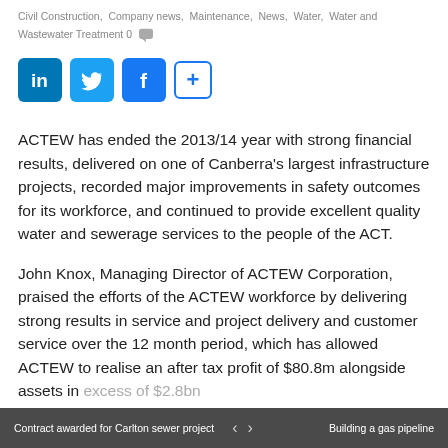Civil Construction,  Company news,  Maintenance,  News,  Water,  Water and Wastewater Treatment 0 [comment icon]
[Figure (other): Social sharing icons: LinkedIn (blue square with 'in'), Twitter (blue square with bird), Facebook (blue square with 'f'), and a '+' button]
ACTEW has ended the 2013/14 year with strong financial results, delivered on one of Canberra's largest infrastructure projects, recorded major improvements in safety outcomes for its workforce, and continued to provide excellent quality water and sewerage services to the people of the ACT.
John Knox, Managing Director of ACTEW Corporation, praised the efforts of the ACTEW workforce by delivering strong results in service and project delivery and customer service over the 12 month period, which has allowed ACTEW to realise an after tax profit of $80.8m alongside assets in excess of $2.8bn
Contract awarded for Carlton sewer project   < >   Building a gas pipeline